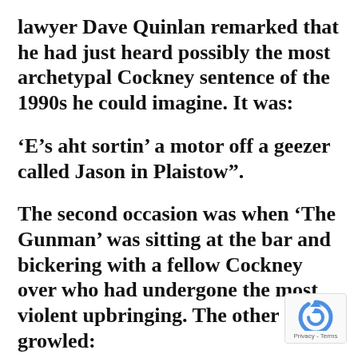lawyer Dave Quinlan remarked that he had just heard possibly the most archetypal Cockney sentence of the 1990s he could imagine. It was:
‘E’s aht sortin’ a motor off a geezer called Jason in Plaistow”.
The second occasion was when ‘The Gunman’ was sitting at the bar and bickering with a fellow Cockney over who had undergone the most violent upbringing. The other man growled:
“I grew up in one of the toughest parts of Walthamstow, pal.”
[Figure (logo): reCAPTCHA logo with Privacy - Terms text]